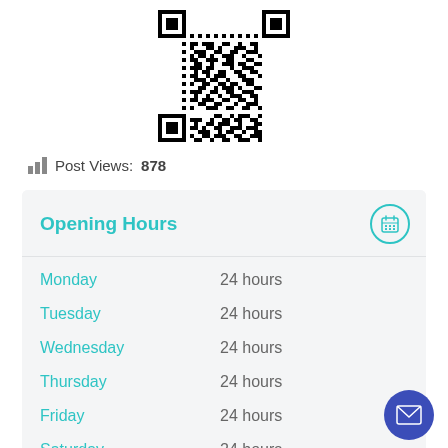[Figure (other): QR code centered near top of page]
Post Views: 878
Opening Hours
| Day | Hours |
| --- | --- |
| Monday | 24 hours |
| Tuesday | 24 hours |
| Wednesday | 24 hours |
| Thursday | 24 hours |
| Friday | 24 hours |
| Saturday | 24 hours |